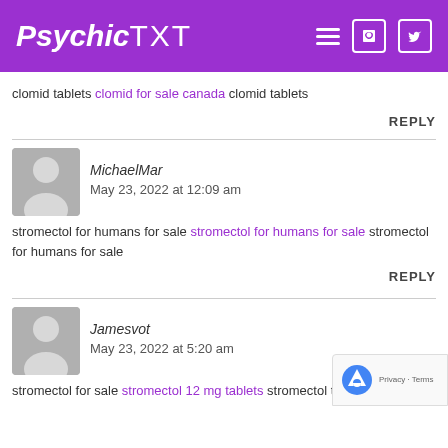Psychic TXT
clomid tablets clomid for sale canada clomid tablets
REPLY
MichaelMar   May 23, 2022 at 12:09 am
stromectol for humans for sale stromectol for humans for sale stromectol for humans for sale
REPLY
Jamesvot   May 23, 2022 at 5:20 am
stromectol for sale stromectol 12 mg tablets stromectol tablets